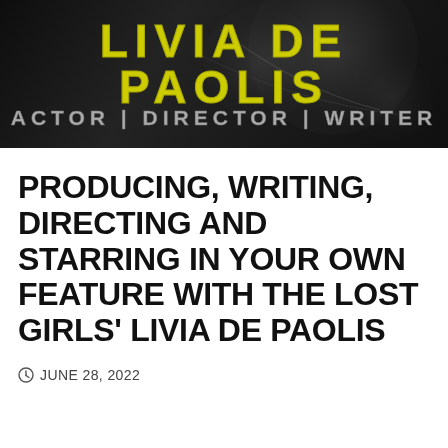[Figure (other): Header banner with dark background and lens/bokeh effect showing name 'Livia De Paolis' in yellow/gold uppercase letters and subtitle 'Actor | Director | Writer' in grey]
PRODUCING, WRITING, DIRECTING AND STARRING IN YOUR OWN FEATURE WITH THE LOST GIRLS' LIVIA DE PAOLIS
JUNE 28, 2022